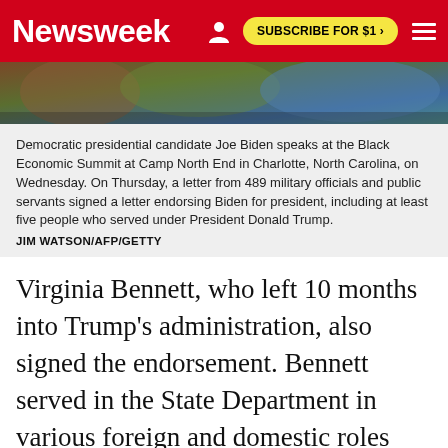Newsweek | SUBSCRIBE FOR $1 >
[Figure (photo): Partial photo of Joe Biden speaking at the Black Economic Summit at Camp North End in Charlotte, North Carolina]
Democratic presidential candidate Joe Biden speaks at the Black Economic Summit at Camp North End in Charlotte, North Carolina, on Wednesday. On Thursday, a letter from 489 military officials and public servants signed a letter endorsing Biden for president, including at least five people who served under President Donald Trump.
JIM WATSON/AFP/GETTY
Virginia Bennett, who left 10 months into Trump's administration, also signed the endorsement. Bennett served in the State Department in various foreign and domestic roles beginning with Clinton's administration. Under Trump, she served as acting assistant secretary of state and principal deputy for the